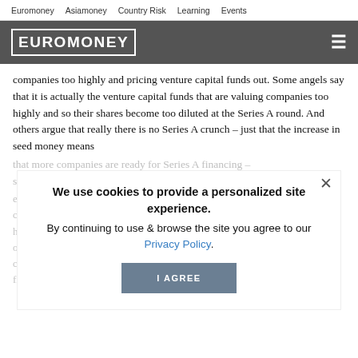Euromoney   Asiamoney   Country Risk   Learning   Events
[Figure (logo): Euromoney logo in white text on dark grey header bar with hamburger menu icon]
companies too highly and pricing venture capital funds out. Some angels say that it is actually the venture capital funds that are valuing companies too highly and so their shares become too diluted at the Series A round. And others argue that really there is no Series A crunch – just that the increase in seed money means that more companies are ready for Series A financing – so there is the appearance of a crunch.
We use cookies to provide a personalized site experience.
By continuing to use & browse the site you agree to our Privacy Policy.
I AGREE
evolve. "Venture c... forced to collaborate more with angel investors. That would not have happened befo... realize the benefits of having angels. The... rency, as does crowdfunding. There has been talk of alternative seed financing as being a threat to venture capital, but I don't